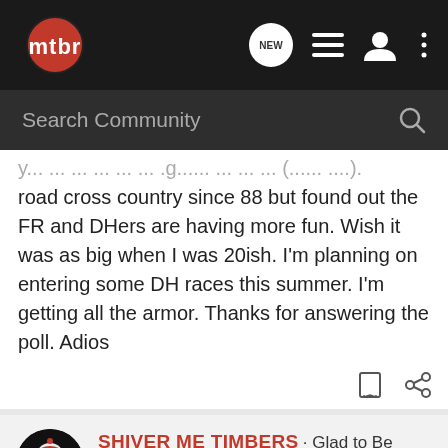[Figure (logo): mtbr logo - red circle with white mtbr text]
Search Community
road cross country since 88 but found out the FR and DHers are having more fun. Wish it was as big when I was 20ish. I'm planning on entering some DH races this summer. I'm getting all the armor. Thanks for answering the poll. Adios
SHIVER ME TIMBERS · Glad to Be Alive 🇺🇸
Joined Jan 12, 2004 · 43,010 Posts
#2 · Jun 22, 2008
Jeff Gordon plus 20 years....YIKERS